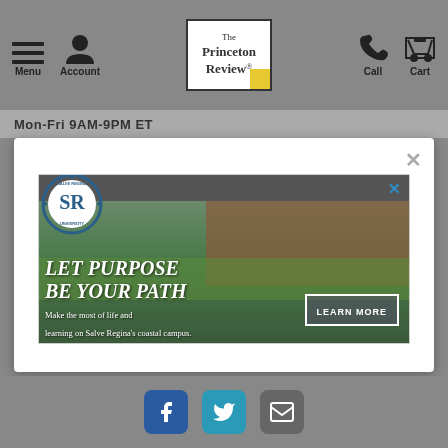Menu | Account | The Princeton Review | Call | Cart
Mon-Fri 9AM-9PM ET
[Figure (screenshot): Modal popup on The Princeton Review website showing a Salve Regina University advertisement with two students walking on campus, text 'LET PURPOSE BE YOUR PATH', a 'LEARN MORE' button, and caption 'Make the most of life and learning on Salve Regina's coastal campus.']
Facebook | Twitter | Email social media icons